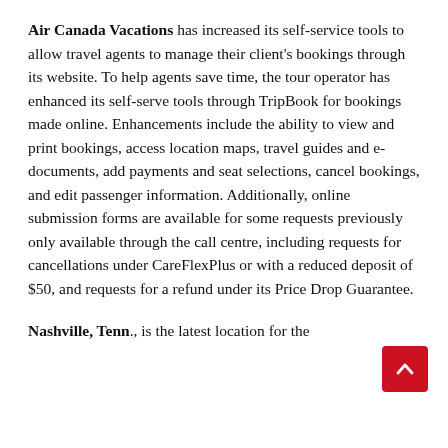Air Canada Vacations has increased its self-service tools to allow travel agents to manage their client's bookings through its website. To help agents save time, the tour operator has enhanced its self-serve tools through TripBook for bookings made online. Enhancements include the ability to view and print bookings, access location maps, travel guides and e-documents, add payments and seat selections, cancel bookings, and edit passenger information. Additionally, online submission forms are available for some requests previously only available through the call centre, including requests for cancellations under CareFlexPlus or with a reduced deposit of $50, and requests for a refund under its Price Drop Guarantee.
Nashville, Tenn., is the latest location for the